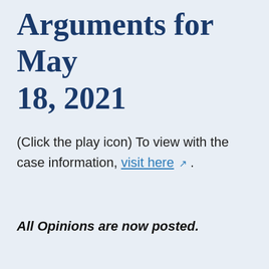Arguments for May 18, 2021
(Click the play icon) To view with the case information, visit here ↗ .
All Opinions are now posted.